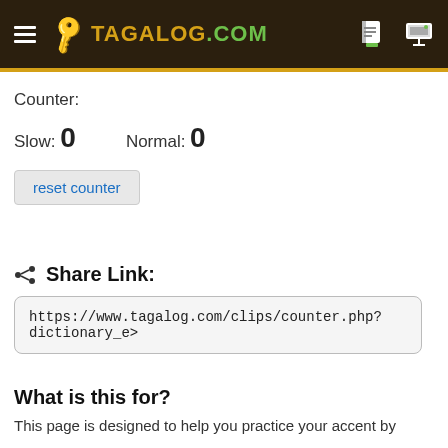TAGALOG.COM
Counter:
Slow: 0    Normal: 0
reset counter
Share Link:
https://www.tagalog.com/clips/counter.php?dictionary_e>
What is this for?
This page is designed to help you practice your accent by